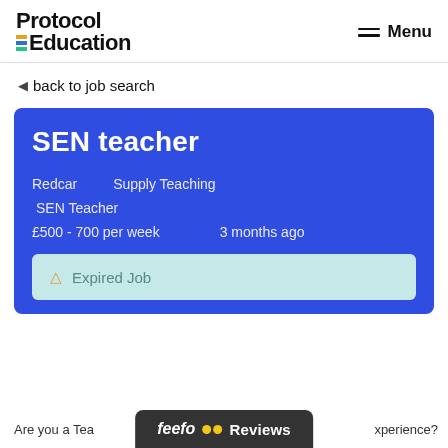Protocol Education  Menu
◄ back to job search
SEN teacher
Redcar    Supply Teaching
SEN Teacher
£500 - 700 per week    3 months ago
▲ Expired Job
Are you a Tea...  feefo Reviews  xperience?